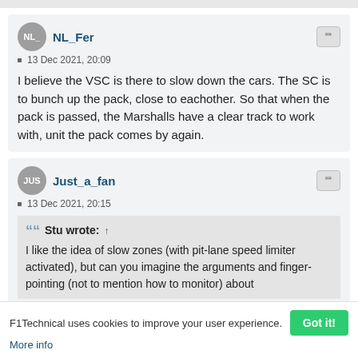NL_Fer
13 Dec 2021, 20:09
I believe the VSC is there to slow down the cars. The SC is to bunch up the pack, close to eachother. So that when the pack is passed, the Marshalls have a clear track to work with, unit the pack comes by again.
Just_a_fan
13 Dec 2021, 20:15
Stu wrote: ↑
I like the idea of slow zones (with pit-lane speed limiter activated), but can you imagine the arguments and finger-pointing (not to mention how to monitor) about
F1Technical uses cookies to improve your user experience.
More info